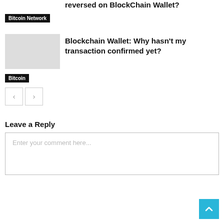reversed on BlockChain Wallet?
Bitcoin Network
[Figure (other): Thumbnail image placeholder]
Blockchain Wallet: Why hasn't my transaction confirmed yet?
Bitcoin
[Figure (other): Navigation previous and next buttons]
Leave a Reply
Enter your comment here...
[Figure (other): Back to top button (blue, arrow up)]